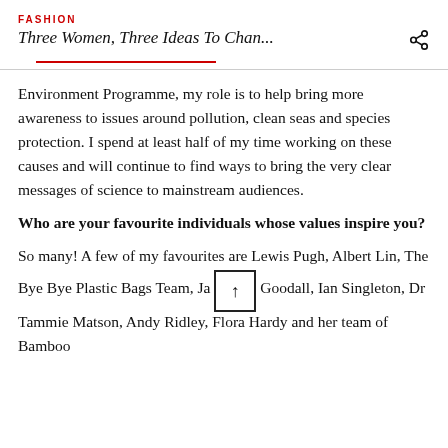FASHION
Three Women, Three Ideas To Chan...
Environment Programme, my role is to help bring more awareness to issues around pollution, clean seas and species protection. I spend at least half of my time working on these causes and will continue to find ways to bring the very clear messages of science to mainstream audiences.
Who are your favourite individuals whose values inspire you?
So many! A few of my favourites are Lewis Pugh, Albert Lin, The Bye Bye Plastic Bags Team, Jane Goodall, Ian Singleton, Dr Tammie Matson, Andy Ridley, Flora Hardy and her team of Bamboo